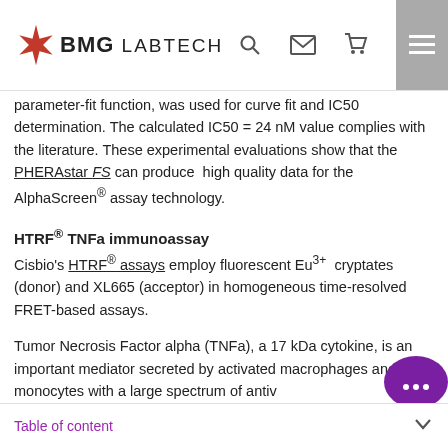BMG LABTECH
parameter-fit function, was used for curve fit and IC50 determination. The calculated IC50 = 24 nM value complies with the literature. These experimental evaluations show that the PHERAstar FS can produce high quality data for the AlphaScreen® assay technology.
HTRF® TNFa immunoassay
Cisbio's HTRF® assays employ fluorescent Eu3+ cryptates (donor) and XL665 (acceptor) in homogeneous time-resolved FRET-based assays.
Tumor Necrosis Factor alpha (TNFa), a 17 kDa cytokine, is an important mediator secreted by activated macrophages and monocytes with a large spectrum of anti-immunoregulation, metabolic and
Table of content